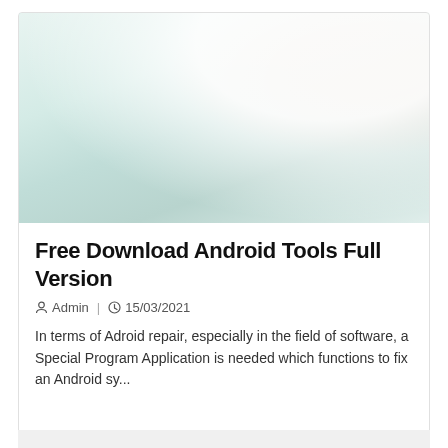[Figure (photo): Photo of multiple Android smartphones and tablets arranged on a white surface with a keyboard, with a hand touching one of the devices. Various screen sizes shown with colorful app displays.]
Free Download Android Tools Full Version
Admin  |  15/03/2021
In terms of Adroid repair, especially in the field of software, a Special Program Application is needed which functions to fix an Android sy...